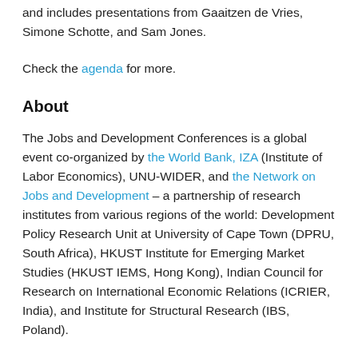and includes presentations from Gaaitzen de Vries, Simone Schotte, and Sam Jones.
Check the agenda for more.
About
The Jobs and Development Conferences is a global event co-organized by the World Bank, IZA (Institute of Labor Economics), UNU-WIDER, and the Network on Jobs and Development – a partnership of research institutes from various regions of the world: Development Policy Research Unit at University of Cape Town (DPRU, South Africa), HKUST Institute for Emerging Market Studies (HKUST IEMS, Hong Kong), Indian Council for Research on International Economic Relations (ICRIER, India), and Institute for Structural Research (IBS, Poland).
The conference strives to expand the frontiers of global